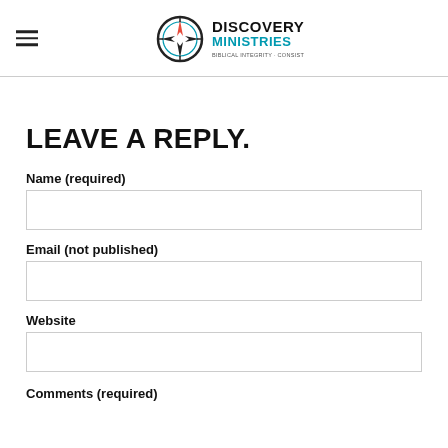Discovery Ministries logo and navigation
LEAVE A REPLY.
Name (required)
Email (not published)
Website
Comments (required)